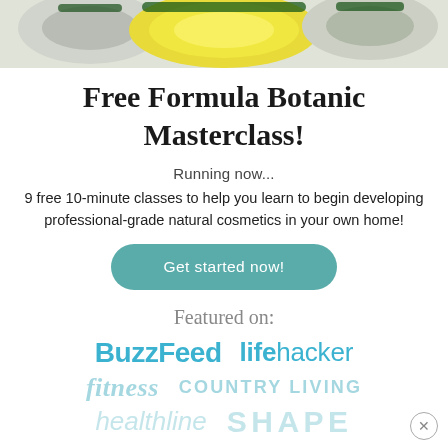[Figure (photo): Top portion of page showing yellow cosmetic balm containers on a light background, partially cropped]
Free Formula Botanic Masterclass!
Running now...
9 free 10-minute classes to help you learn to begin developing professional-grade natural cosmetics in your own home!
Get started now!
Featured on:
BuzzFeed  lifehacker  fitness  COUNTRY LIVING  healthline  SHAPE